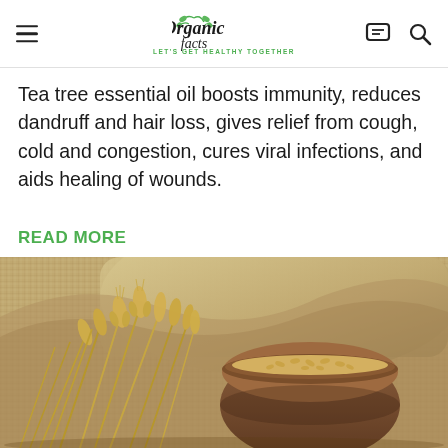Organic Facts — LET'S GET HEALTHY TOGETHER
Tea tree essential oil boosts immunity, reduces dandruff and hair loss, gives relief from cough, cold and congestion, cures viral infections, and aids healing of wounds.
READ MORE
[Figure (photo): Wheat stalks and a brown clay bowl filled with wheat grains, arranged on burlap fabric background]